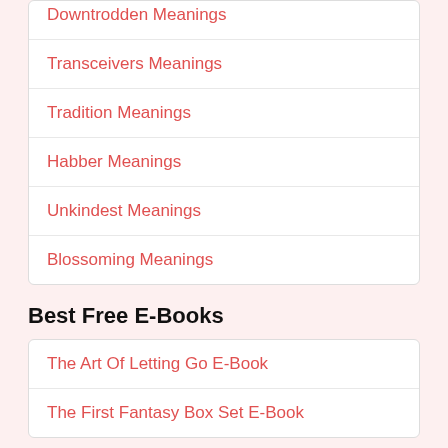Downtrodden Meanings
Transceivers Meanings
Tradition Meanings
Habber Meanings
Unkindest Meanings
Blossoming Meanings
Best Free E-Books
The Art Of Letting Go E-Book
The First Fantasy Box Set E-Book